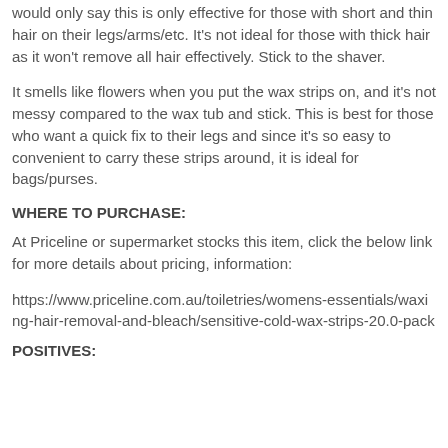would only say this is only effective for those with short and thin hair on their legs/arms/etc. It's not ideal for those with thick hair as it won't remove all hair effectively. Stick to the shaver.
It smells like flowers when you put the wax strips on, and it's not messy compared to the wax tub and stick. This is best for those who want a quick fix to their legs and since it's so easy to convenient to carry these strips around, it is ideal for bags/purses.
WHERE TO PURCHASE:
At Priceline or supermarket stocks this item, click the below link for more details about pricing, information:
https://www.priceline.com.au/toiletries/womens-essentials/waxing-hair-removal-and-bleach/sensitive-cold-wax-strips-20.0-pack
POSITIVES: